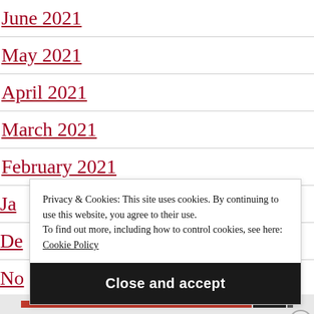June 2021
May 2021
April 2021
March 2021
February 2021
Ja[nuary 2021] (partially visible)
De[cember 2020] (partially visible)
No[vember 2020] (partially visible)
Privacy & Cookies: This site uses cookies. By continuing to use this website, you agree to their use. To find out more, including how to control cookies, see here: Cookie Policy
Close and accept